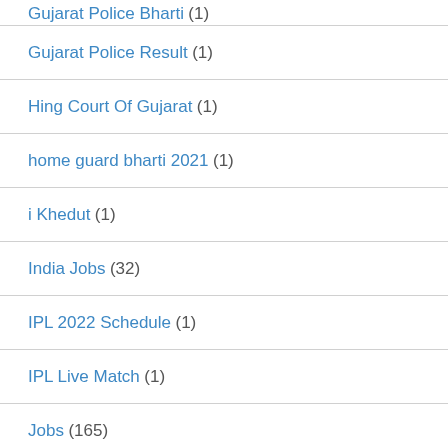Gujarat Police Bharti (1)
Gujarat Police Result (1)
Hing Court Of Gujarat (1)
home guard bharti 2021 (1)
i Khedut (1)
India Jobs (32)
IPL 2022 Schedule (1)
IPL Live Match (1)
Jobs (165)
Jobs Update (211)
Latest Job (214)
Light-Bill (1)
Live (1)
Map (2)
MGVCL (1)